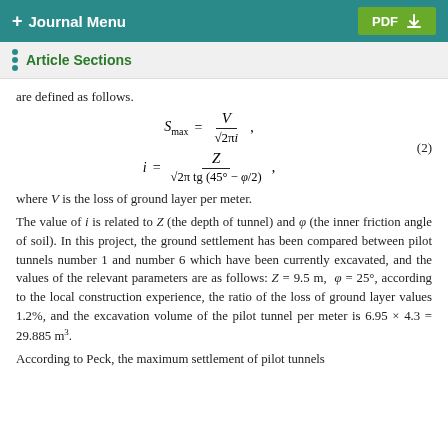+ Journal Menu | PDF
Article Sections
are defined as follows.
where V is the loss of ground layer per meter.
The value of i is related to Z (the depth of tunnel) and ϕ (the inner friction angle of soil). In this project, the ground settlement has been compared between pilot tunnels number 1 and number 6 which have been currently excavated, and the values of the relevant parameters are as follows: Z = 9.5 m, ϕ = 25°, according to the local construction experience, the ratio of the loss of ground layer values 1.2%, and the excavation volume of the pilot tunnel per meter is 6.95 × 4.3 = 29.885 m³.
According to Peck, the maximum settlement of pilot tunnels